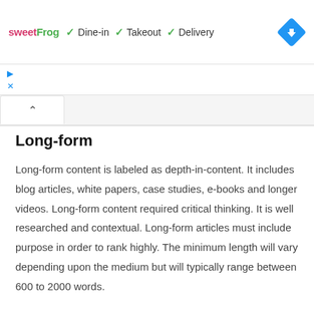[Figure (screenshot): sweetFrog logo with dine-in, takeout, delivery service indicators and a blue navigation direction diamond icon]
[Figure (screenshot): Small play and close icon buttons row]
[Figure (screenshot): Tab bar with an up-arrow (chevron) tab selected]
Long-form
Long-form content is labeled as depth-in-content. It includes blog articles, white papers, case studies, e-books and longer videos. Long-form content required critical thinking. It is well researched and contextual. Long-form articles must include purpose in order to rank highly. The minimum length will vary depending upon the medium but will typically range between 600 to 2000 words.